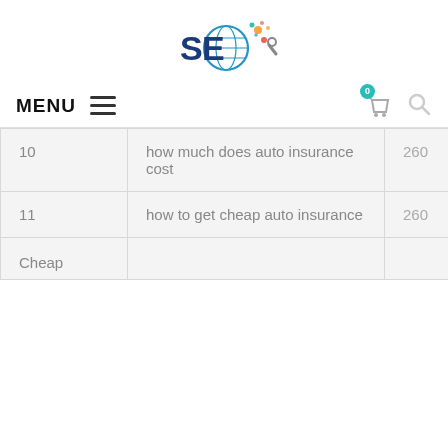[Figure (logo): SEO logo with globe and colorful splashes]
MENU  ≡  [cart icon with badge 0] [search icon]
| 10 | how much does auto insurance cost | 260 |
| 11 | how to get cheap auto insurance | 260 |
| Cheap |  |  |